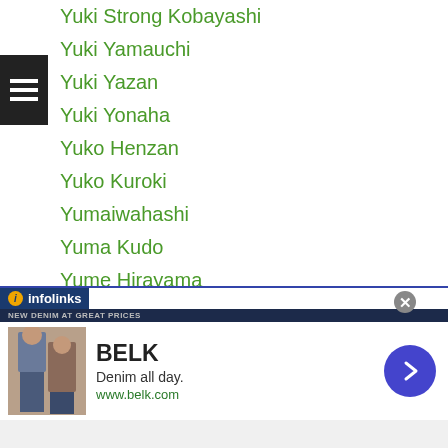Yuki Strong Kobayashi
Yuki Yamauchi
Yuki Yazan
Yuki Yonaha
Yuko Henzan
Yuko Kuroki
Yumaiwahashi
Yuma Kudo
Yume Hirayama
Yumemi Ikemoto
Yumiko Shimooka
Yumi Narita
Yuna Hara
Yuni Takada
Yunoka Furukawa
Yun Seong Kim
[Figure (screenshot): Advertisement banner for BELK - Denim all day. www.belk.com, with infolinks branding bar]